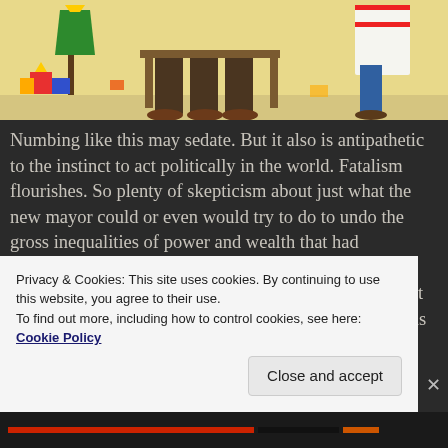[Figure (illustration): A colorful illustrated cartoon showing figures with signs and objects against a yellow background, partially cropped at the top of the page.]
Numbing like this may sedate.  But it also is antipathetic to the instinct to act politically in the world. Fatalism flourishes.  So plenty of skepticism about just what the new mayor could or even would try to do to undo the gross inequalities of power and wealth that had characterized the city for a generation emerged even before the ballots were counted.  And that could turn out to be a gloomily accurate forecast.  Certainly no one was expecting
Privacy & Cookies: This site uses cookies. By continuing to use this website, you agree to their use.
To find out more, including how to control cookies, see here:
Cookie Policy
Close and accept